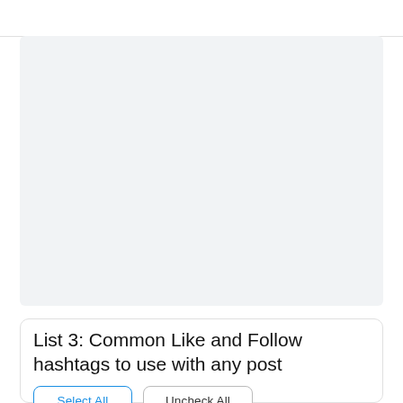[Figure (screenshot): Large light gray rectangular area representing a UI content panel or image placeholder area]
List 3: Common Like and Follow hashtags to use with any post
Select All   Uncheck All